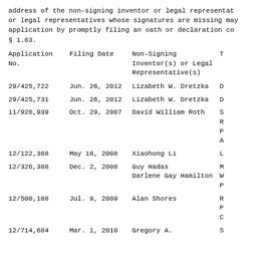address of the non-signing inventor or legal representat... or legal representatives whose signatures are missing may application by promptly filing an oath or declaration co... § 1.63.
| Application
No. | Filing Date | Non-Signing
Inventor(s) or Legal
Representative(s) | T... |
| --- | --- | --- | --- |
| 29/425,722 | Jun. 26, 2012 | Lizabeth W. Dretzka | D... |
| 29/425,731 | Jun. 26, 2012 | Lizabeth W. Dretzka | D... |
| 11/926,939 | Oct. 29, 2007 | David William Roth | S...
R...
P...
A... |
| 12/122,368 | May 16, 2008 | Xiaohong Li | L... |
| 12/326,388 | Dec. 2, 2008 | Guy Hadas
Darlene Gay Hamilton | M...
W...
P... |
| 12/500,188 | Jul. 9, 2009 | Alan Shores | R...
P...
C... |
| 12/714,684 | Mar. 1, 2010 | Gregory A. | S... |